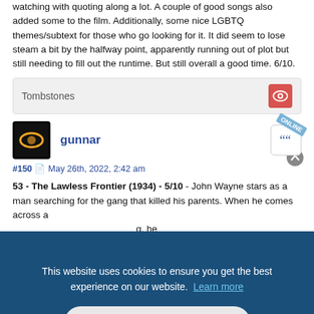watching with quoting along a lot. A couple of good songs also added some to the film. Additionally, some nice LGBTQ themes/subtext for those who go looking for it. It did seem to lose steam a bit by the halfway point, apparently running out of plot but still needing to fill out the runtime. But still overall a good time. 6/10.
Tombstones
#150 May 26th, 2022, 2:42 am
gunnar
53 - The Lawless Frontier (1934) - 5/10 - John Wayne stars as a man searching for the gang that killed his parents. When he comes across a [obscured by overlay], he [obscured] ry good
[obscured by overlay] o moves [obscured] when [obscured] s ranch.
55 - The Man from Utah (1934) - 4.5/10 - John Wayne is a talented rider
This website uses cookies to ensure you get the best experience on our website. Learn more
Got it!